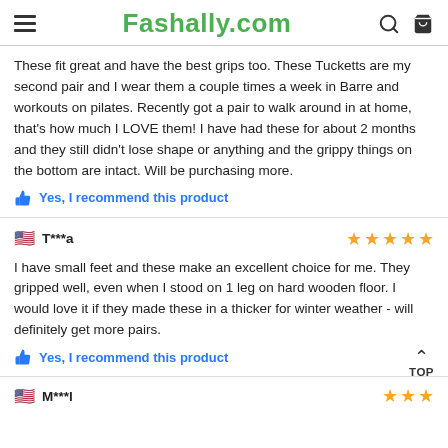Fashally.com
These fit great and have the best grips too. These Tucketts are my second pair and I wear them a couple times a week in Barre and workouts on pilates. Recently got a pair to walk around in at home, that's how much I LOVE them! I have had these for about 2 months and they still didn't lose shape or anything and the grippy things on the bottom are intact. Will be purchasing more.
Yes, I recommend this product
T***a
I have small feet and these make an excellent choice for me. They gripped well, even when I stood on 1 leg on hard wooden floor. I would love it if they made these in a thicker for winter weather - will definitely get more pairs.
Yes, I recommend this product
M***l